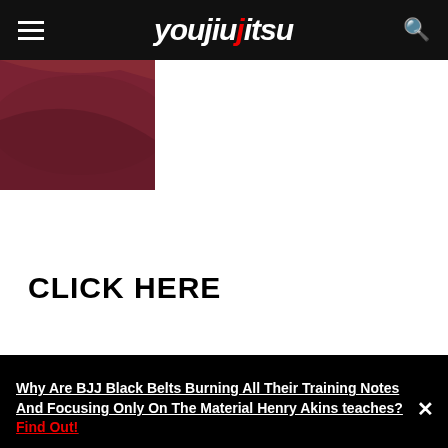youjiujitsu
[Figure (photo): Partial view of a dark red/maroon BJJ belt against white background]
CLICK HERE
[Figure (illustration): Red lion silhouette on black background]
Why Are BJJ Black Belts Burning All Their Training Notes And Focusing Only On The Material Henry Akins teaches? Find Out!